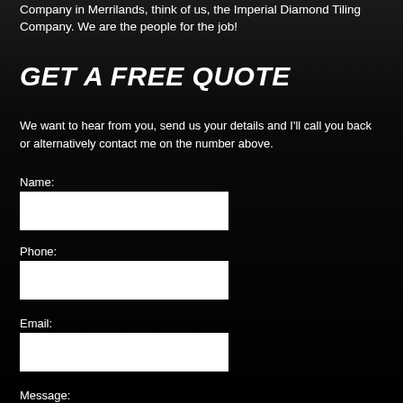Company in Merrilands, think of us, the Imperial Diamond Tiling Company. We are the people for the job!
GET A FREE QUOTE
We want to hear from you, send us your details and I'll call you back or alternatively contact me on the number above.
Name:
Phone:
Email:
Message: